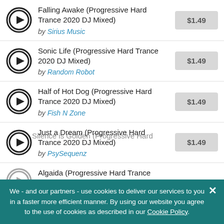Falling Awake (Progressive Hard Trance 2020 DJ Mixed) by Sirius Music $1.49
Sonic Life (Progressive Hard Trance 2020 DJ Mixed) by Random Robot $1.49
Half of Hot Dog (Progressive Hard Trance 2020 DJ Mixed) by Fish N Zone $1.49
Just a Dream (Progressive Hard Trance 2020 DJ Mixed) by PsySequenz $1.49
Algaida (Progressive Hard Trance 2020 DJ Mixed) [partial]
Silence is Golden (Progressive Hard [partial]
We - and our partners - use cookies to deliver our services to you in a faster more efficient manner. By using our website you agree to the use of cookies as described in our Cookie Policy.